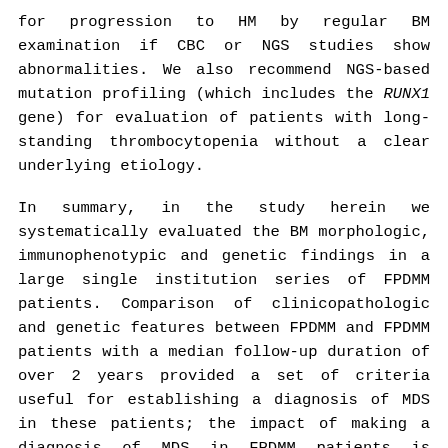for progression to HM by regular BM examination if CBC or NGS studies show abnormalities. We also recommend NGS-based mutation profiling (which includes the RUNX1 gene) for evaluation of patients with long-standing thrombocytopenia without a clear underlying etiology.
In summary, in the study herein we systematically evaluated the BM morphologic, immunophenotypic and genetic findings in a large single institution series of FPDMM patients. Comparison of clinicopathologic and genetic features between FPDMM and FPDMM patients with a median follow-up duration of over 2 years provided a set of criteria useful for establishing a diagnosis of MDS in these patients; the impact of making a diagnosis of MDS in FPDMM patients is underscored by the significant therapeutic implications including allogeneic stem cell transplantation. The role of precise diagnostic